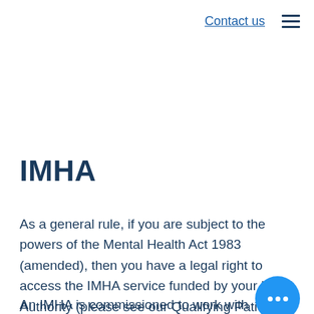Contact us
IMHA
As a general rule, if you are subject to the powers of the Mental Health Act 1983 (amended), then you have a legal right to access the IMHA service funded by your Local Authority (please see our Qualifying Patients section).
An IMHA is commissioned to work with